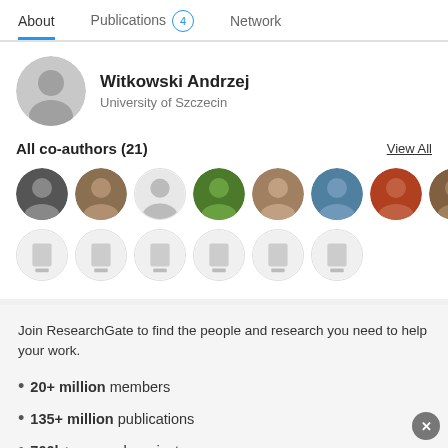About | Publications 4 | Network
Witkowski Andrzej
University of Szczecin
All co-authors (21)
View All
[Figure (photo): Row of co-author avatar circles — some showing real photos, others showing placeholder icons]
Join ResearchGate to find the people and research you need to help your work.
20+ million members
135+ million publications
700k+ research projects